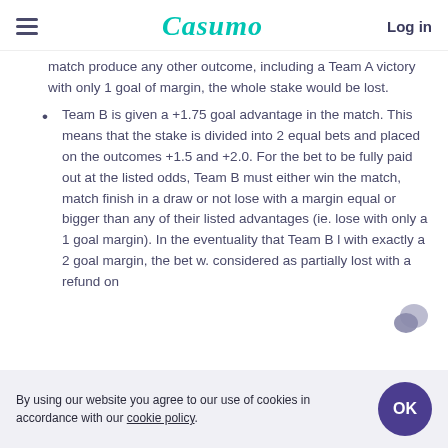Casumo — Log in
match produce any other outcome, including a Team A victory with only 1 goal of margin, the whole stake would be lost.
Team B is given a +1.75 goal advantage in the match. This means that the stake is divided into 2 equal bets and placed on the outcomes +1.5 and +2.0. For the bet to be fully paid out at the listed odds, Team B must either win the match, match finish in a draw or not lose with a margin equal or bigger than any of their listed advantages (ie. lose with only a 1 goal margin). In the eventuality that Team B l with exactly a 2 goal margin, the bet w. considered as partially lost with a refund on
By using our website you agree to our use of cookies in accordance with our cookie policy.